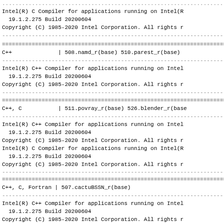............................................
Intel(R) C Compiler for applications running on Intel(R
  19.1.2.275 Build 20200604
Copyright (C) 1985-2020 Intel Corporation. All rights r
--------------------------------------------
============================================
C++              | 508.namd_r(base) 510.parest_r(base)
--------------------------------------------
Intel(R) C++ Compiler for applications running on Intel
  19.1.2.275 Build 20200604
Copyright (C) 1985-2020 Intel Corporation. All rights r
--------------------------------------------
============================================
C++, C           | 511.povray_r(base) 526.blender_r(base
--------------------------------------------
Intel(R) C++ Compiler for applications running on Intel
  19.1.2.275 Build 20200604
Copyright (C) 1985-2020 Intel Corporation. All rights r
Intel(R) C Compiler for applications running on Intel(R
  19.1.2.275 Build 20200604
Copyright (C) 1985-2020 Intel Corporation. All rights r
--------------------------------------------
============================================
C++, C, Fortran | 507.cactuBSSN_r(base)
--------------------------------------------
Intel(R) C++ Compiler for applications running on Intel
  19.1.2.275 Build 20200604
Copyright (C) 1985-2020 Intel Corporation. All rights r